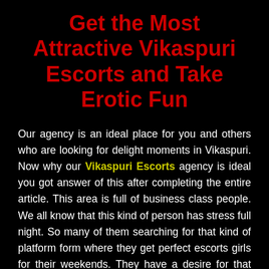Get the Most Attractive Vikaspuri Escorts and Take Erotic Fun
Our agency is an ideal place for you and others who are looking for delight moments in Vikaspuri. Now why our Vikaspuri Escorts agency is ideal you got answer of this after completing the entire article. This area is full of business class people. We all know that this kind of person has stress full night. So many of them searching for that kind of platform form where they get perfect escorts girls for their weekends. They have a desire for that kind of call girl who helps them in forgetting their entire stress. We think you are also one of them who looking for a good looking lady for the evening. If our